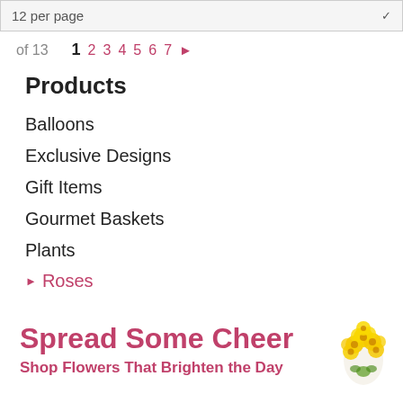12 per page
of 13  1  2  3  4  5  6  7  ▶
Products
Balloons
Exclusive Designs
Gift Items
Gourmet Baskets
Plants
▶ Roses
Spread Some Cheer
Shop Flowers That Brighten the Day
[Figure (illustration): Yellow flower bouquet in the bottom right corner of the banner]